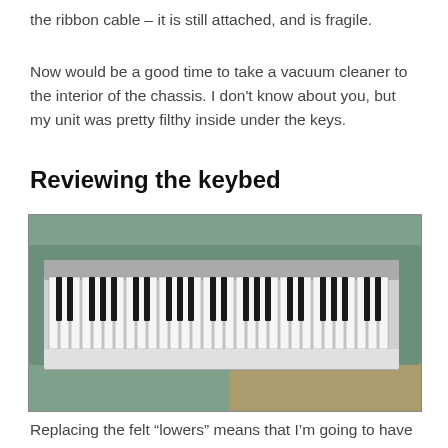the ribbon cable – it is still attached, and is fragile.
Now would be a good time to take a vacuum cleaner to the interior of the chassis. I don't know about you, but my unit was pretty filthy inside under the keys.
Reviewing the keybed
[Figure (photo): A full keyboard/keybed with black and white keys removed from the chassis, lying on a teal/grey fabric surface on a wooden workbench, with various tools and cables visible in the background.]
Replacing the felt “lowers” means that I’m going to have to remove all the keys. I took some time to review the keys. Each key has an identifier embossed near the